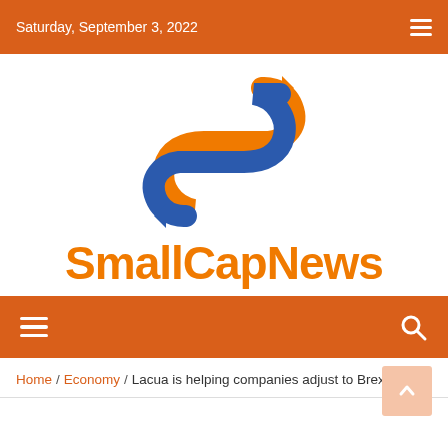Saturday, September 3, 2022
[Figure (logo): SmallCapNews logo: orange and blue S-shaped arrow logo with text 'SmallCapNews' in orange bold font]
[Figure (other): Navigation bar with hamburger menu icon on left and search icon on right, orange background]
Home / Economy / Lacua is helping companies adjust to Brexit